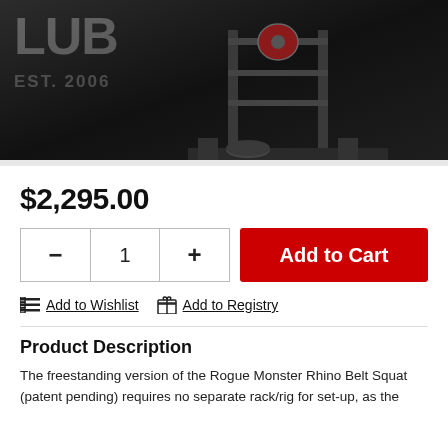[Figure (photo): Black and white gym photo showing a power rack/belt squat machine with weight plates, 'EST. 2006' text visible on wall]
$2,295.00
Add to Cart
Add to Wishlist   Add to Registry
Product Description
The freestanding version of the Rogue Monster Rhino Belt Squat (patent pending) requires no separate rack/rig for set-up, as the